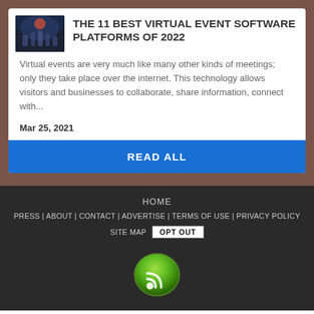[Figure (photo): Thumbnail image showing a digital/virtual event scene with people silhouettes and futuristic lighting]
THE 11 BEST VIRTUAL EVENT SOFTWARE PLATFORMS OF 2022
Virtual events are very much like many other kinds of meetings; only they take place over the internet. This technology allows visitors and businesses to collaborate, share information, connect with...
Mar 25, 2021
READ ALL
HOME
PRESS | ABOUT | CONTACT | ADVERTISE | TERMS OF USE | PRIVACY POLICY
SITE MAP  OPT OUT
[Figure (logo): Green RSS/wifi style logo icon at the bottom of the page]